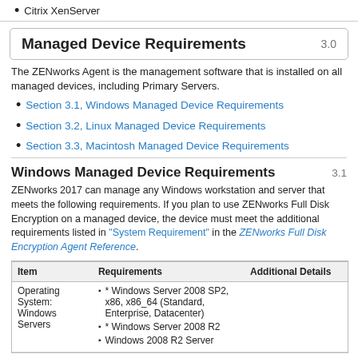Citrix XenServer
Managed Device Requirements 3.0
The ZENworks Agent is the management software that is installed on all managed devices, including Primary Servers.
Section 3.1, Windows Managed Device Requirements
Section 3.2, Linux Managed Device Requirements
Section 3.3, Macintosh Managed Device Requirements
Windows Managed Device Requirements 3.1
ZENworks 2017 can manage any Windows workstation and server that meets the following requirements. If you plan to use ZENworks Full Disk Encryption on a managed device, the device must meet the additional requirements listed in "System Requirement" in the ZENworks Full Disk Encryption Agent Reference.
| Item | Requirements | Additional Details |
| --- | --- | --- |
| Operating System: Windows Servers | * Windows Server 2008 SP2, x86, x86_64 (Standard, Enterprise, Datacenter)
* Windows Server 2008 R2
* Windows 2008 R2 Server |  |